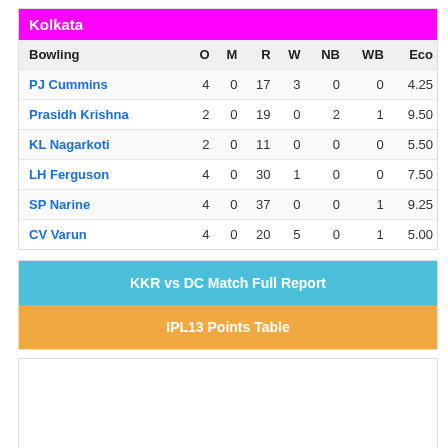Kolkata
| Bowling | O | M | R | W | NB | WB | Eco |
| --- | --- | --- | --- | --- | --- | --- | --- |
| PJ Cummins | 4 | 0 | 17 | 3 | 0 | 0 | 4.25 |
| Prasidh Krishna | 2 | 0 | 19 | 0 | 2 | 1 | 9.50 |
| KL Nagarkoti | 2 | 0 | 11 | 0 | 0 | 0 | 5.50 |
| LH Ferguson | 4 | 0 | 30 | 1 | 0 | 0 | 7.50 |
| SP Narine | 4 | 0 | 37 | 0 | 0 | 1 | 9.25 |
| CV Varun | 4 | 0 | 20 | 5 | 0 | 1 | 5.00 |
KKR vs DC Match Full Report
IPL13 Points Table